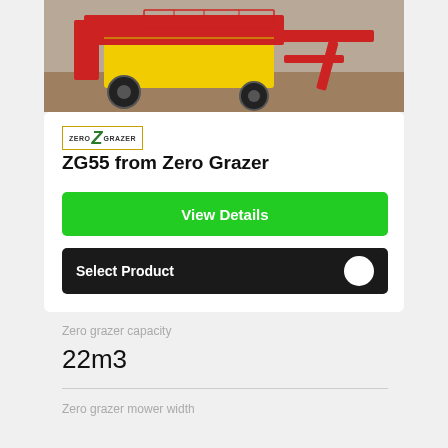[Figure (photo): Red and yellow agricultural machinery (Zero Grazer ZG55) on display outdoors on dirt ground]
[Figure (logo): Zero Grazer logo with stylized Z in green, text ZERO GRAZER, yellow border box]
ZG55 from Zero Grazer
View Details
Select Product
Zero grazer capacity
22m3
Zero grazer mower width